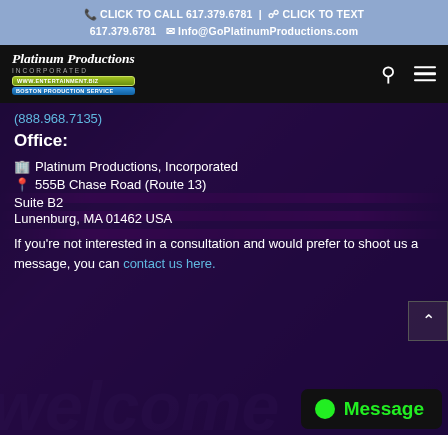CLICK TO CALL 617.379.6781 | CLICK TO TEXT 617.379.6781  Info@GoPlatinumProductions.com
[Figure (logo): Platinum Productions Incorporated logo with script text and colored badge strips on black nav bar with search and menu icons]
(888.968.7135)
Office:
Platinum Productions, Incorporated
555B Chase Road (Route 13)
Suite B2
Lunenburg, MA 01462 USA
If you're not interested in a consultation and would prefer to shoot us a message, you can contact us here.